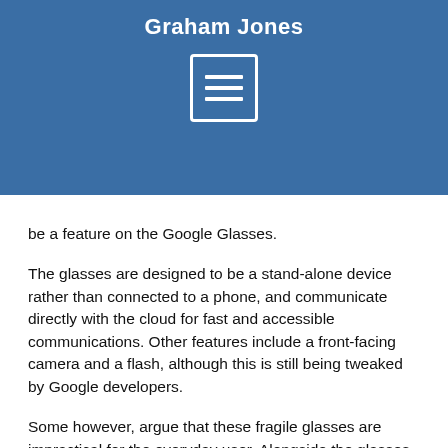Graham Jones
[Figure (other): Menu/hamburger icon button with three horizontal white lines inside a white-bordered rectangle, on a blue background]
be a feature on the Google Glasses.
The glasses are designed to be a stand-alone device rather than connected to a phone, and communicate directly with the cloud for fast and accessible communications. Other features include a front-facing camera and a flash, although this is still being tweaked by Google developers.
Some however, argue that these fragile glasses are impractical for the everyday user. Alongside the glasses being flimsy and easy to break, the fact that users will be reading information in their line of sight means that they can be easily distracted. This would create a dangerous situation whilst driving for example.
Another con against the glasses is the fact that millions of people wear vision correction glasses – around 75% of the American population wear some kind of eyewear – and sunglasses are a